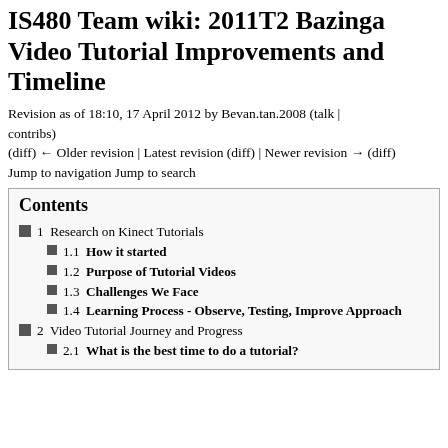IS480 Team wiki: 2011T2 Bazinga Video Tutorial Improvements and Timeline
Revision as of 18:10, 17 April 2012 by Bevan.tan.2008 (talk | contribs)
(diff) ← Older revision | Latest revision (diff) | Newer revision → (diff)
Jump to navigation Jump to search
Contents
1  Research on Kinect Tutorials
1.1  How it started
1.2  Purpose of Tutorial Videos
1.3  Challenges We Face
1.4  Learning Process - Observe, Testing, Improve Approach
2  Video Tutorial Journey and Progress
2.1  What is the best time to do a tutorial?